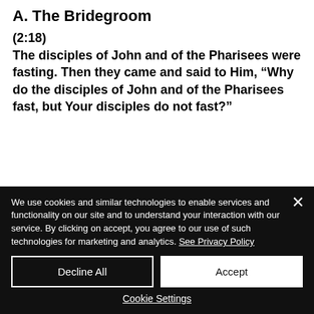A. The Bridegroom
(2:18)
The disciples of John and of the Pharisees were fasting. Then they came and said to Him, “Why do the disciples of John and of the Pharisees fast, but Your disciples do not fast?”
We use cookies and similar technologies to enable services and functionality on our site and to understand your interaction with our service. By clicking on accept, you agree to our use of such technologies for marketing and analytics. See Privacy Policy
Decline All
Accept
Cookie Settings